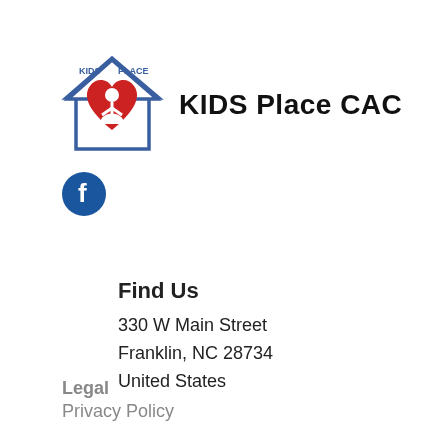[Figure (logo): KIDS Place CAC logo: house outline with red heart and stylized figures inside, text 'KIDS Place CAC' in bold black]
[Figure (logo): Facebook icon: dark blue circle with white lowercase 'f']
Find Us
330 W Main Street
Franklin, NC 28734
United States
Legal
Privacy Policy